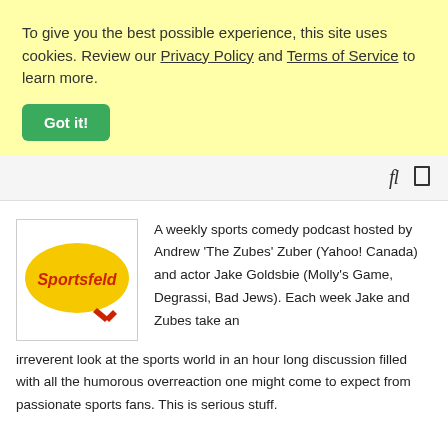To give you the best possible experience, this site uses cookies. Review our Privacy Policy and Terms of Service to learn more.
Got it!
[Figure (screenshot): Navigation bar with search and menu icons on the right side]
[Figure (logo): Sportsfeld podcast logo — yellow oval with red italic text 'Sportsfeld' and a small red arrow/pen icon]
A weekly sports comedy podcast hosted by Andrew 'The Zubes' Zuber (Yahoo! Canada) and actor Jake Goldsbie (Molly's Game, Degrassi, Bad Jews). Each week Jake and Zubes take an irreverent look at the sports world in an hour long discussion filled with all the humorous overreaction one might come to expect from passionate sports fans. This is serious stuff.